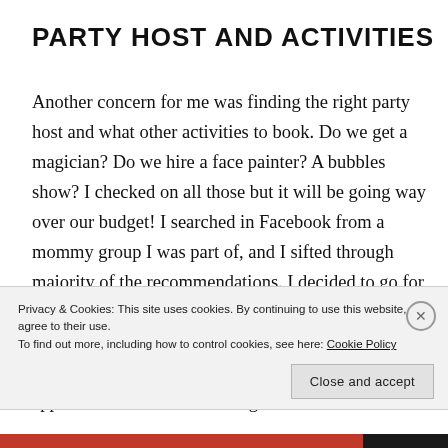PARTY HOST AND ACTIVITIES
Another concern for me was finding the right party host and what other activities to book. Do we get a magician? Do we hire a face painter? A bubbles show? I checked on all those but it will be going way over our budget! I searched in Facebook from a mommy group I was part of, and I sifted through majority of the recommendations. I decided to go for Teacher Celine because I read the reviews and browsed through her albums and fell.in.love. I was actually excited because I saw how different her approach was! And true enough
Privacy & Cookies: This site uses cookies. By continuing to use this website, you agree to their use.
To find out more, including how to control cookies, see here: Cookie Policy
Close and accept